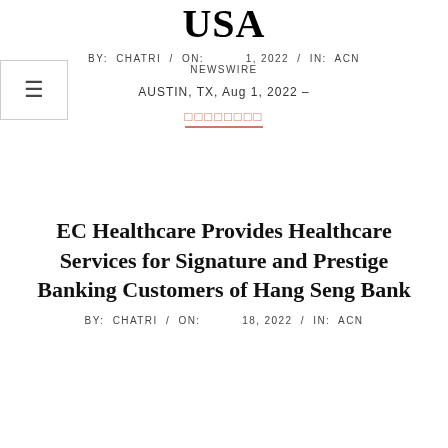USA
BY: CHATRI / ON: 1, 2022 / IN: ACN NEWSWIRE
AUSTIN, TX, Aug 1, 2022 &#8211;
□□□□□□□□
EC Healthcare Provides Healthcare Services for Signature and Prestige Banking Customers of Hang Seng Bank
BY: CHATRI / ON: 18, 2022 / IN: ACN